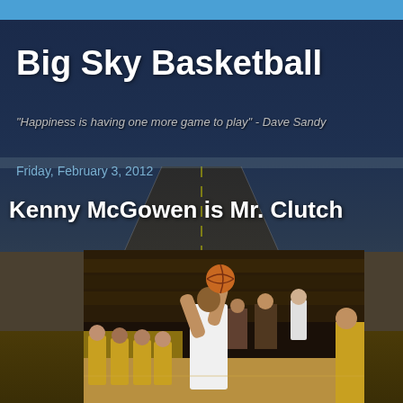Big Sky Basketball
"Happiness is having one more game to play" - Dave Sandy
Friday, February 3, 2012
Kenny McGowen is Mr. Clutch
[Figure (photo): Basketball player in white jersey shooting the ball, with crowd and bench players in yellow uniforms visible in the background]